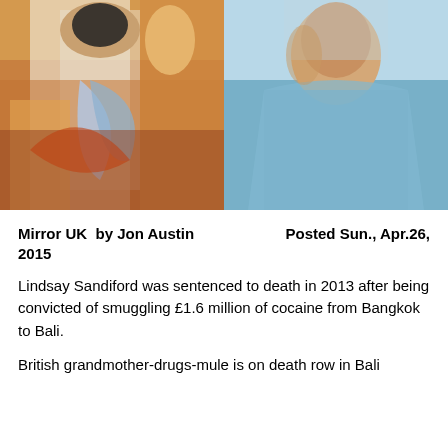[Figure (photo): Two photos side by side: left shows a woman holding a decorative fan in a crowd, wearing sunglasses; right shows a woman in a light blue garment smiling at the camera.]
Mirror UK  by Jon Austin         Posted Sun., Apr.26, 2015
Lindsay Sandiford was sentenced to death in 2013 after being convicted of smuggling £1.6 million of cocaine from Bangkok to Bali.
British grandmother-drugs-mule is on death row in Bali